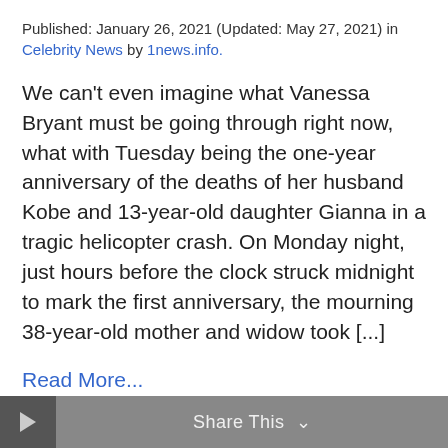Published: January 26, 2021 (Updated: May 27, 2021) in Celebrity News by 1news.info.
We can't even imagine what Vanessa Bryant must be going through right now, what with Tuesday being the one-year anniversary of the deaths of her husband Kobe and 13-year-old daughter Gianna in a tragic helicopter crash. On Monday night, just hours before the clock struck midnight to mark the first anniversary, the mourning 38-year-old mother and widow took [...]
Read More...
The post Vanessa Bryant Reflects On Kobe & Gianna's Deaths One Year Ago: 'It Still Doesn't Seem Real' appeared first on Perez Hilton.
Share This